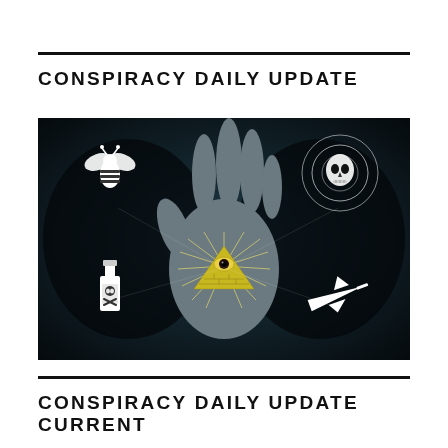CONSPIRACY DAILY UPDATE
[Figure (illustration): Dark dramatic image of a hand (palm facing viewer) with an illuminati all-seeing eye pyramid symbol on the palm, surrounded by conspiracy icons: a bee with striped body (top left), an alien skull face in concentric circles (top right), a poison bottle with skull (bottom left), and a small airplane (bottom right), all on dark black/teal background.]
CONSPIRACY DAILY UPDATE CURRENT